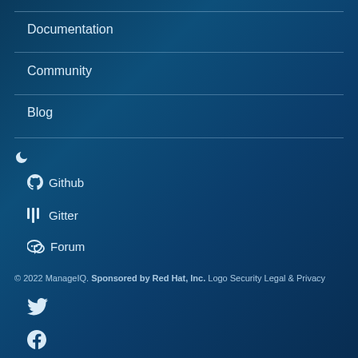Documentation
Community
Blog
🌙 (dark mode toggle)
Github
Gitter
Forum
© 2022 ManageIQ. Sponsored by Red Hat, Inc. Logo Security Legal & Privacy
[Figure (logo): Twitter bird icon]
[Figure (logo): Facebook f icon]